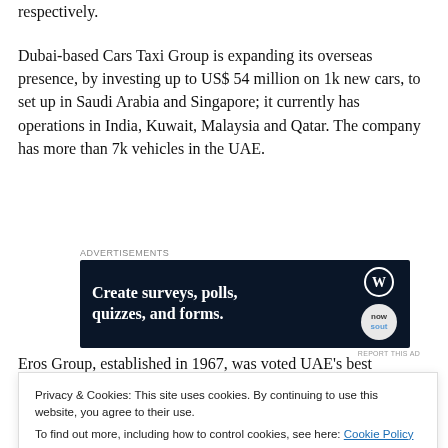respectively.
Dubai-based Cars Taxi Group is expanding its overseas presence, by investing up to US$ 54 million on 1k new cars, to set up in Saudi Arabia and Singapore; it currently has operations in India, Kuwait, Malaysia and Qatar. The company has more than 7k vehicles in the UAE.
[Figure (other): Advertisement banner for WordPress survey/forms tool with text 'Create surveys, polls, quizzes, and forms.']
Eros Group, established in 1967, was voted UAE's best
Superbrands by the Brand Council.
Privacy & Cookies: This site uses cookies. By continuing to use this website, you agree to their use.
To find out more, including how to control cookies, see here: Cookie Policy
Close and accept